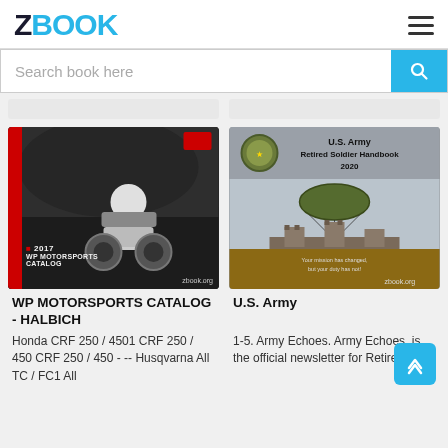[Figure (logo): ZBOOK logo with Z in dark navy and BOOK in cyan/blue color]
Search book here
[Figure (photo): WP Motorsports Catalog book cover - black and white photo of motocross rider with red accent stripe, text reads 2017 WP MOTORSPORTS CATALOG, zbook.org watermark]
[Figure (photo): U.S. Army Retired Soldier Handbook 2020 book cover - parachutist above castle/fortress, zbook.org watermark]
WP MOTORSPORTS CATALOG - HALBICH
U.S. Army
Honda CRF 250 / 4501 CRF 250 / 450 CRF 250 / 450 - -- Husqvarna All TC / FC1 All
1-5. Army Echoes. Army Echoes. is the official newsletter for Retired